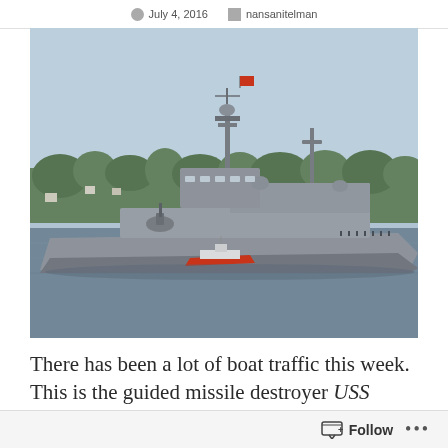July 4, 2016  nansanitelman
[Figure (photo): A US Navy guided missile destroyer photographed from shore, with a small red and white Coast Guard or escort vessel in the foreground. Green forested hillside with houses visible in the background. Blue-grey hazy sky. The large grey warship occupies most of the frame on calm dark water.]
There has been a lot of boat traffic this week. This is the guided missile destroyer USS
Follow ...